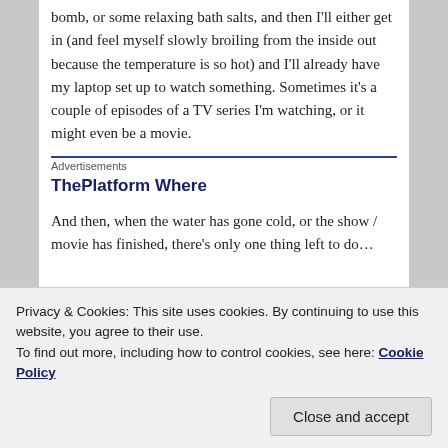bomb, or some relaxing bath salts, and then I'll either get in (and feel myself slowly broiling from the inside out because the temperature is so hot) and I'll already have my laptop set up to watch something. Sometimes it's a couple of episodes of a TV series I'm watching, or it might even be a movie.
Advertisements
ThePlatform Where
And then, when the water has gone cold, or the show / movie has finished, there's only one thing left to do…
Privacy & Cookies: This site uses cookies. By continuing to use this website, you agree to their use.
To find out more, including how to control cookies, see here: Cookie Policy
Close and accept